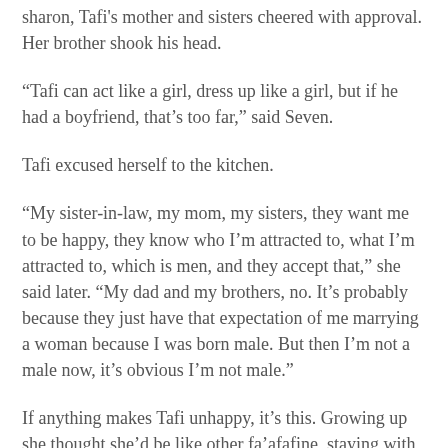sharon, Tafi's mother and sisters cheered with approval. Her brother shook his head.
“Tafi can act like a girl, dress up like a girl, but if he had a boyfriend, that’s too far,” said Seven.
Tafi excused herself to the kitchen.
“My sister-in-law, my mom, my sisters, they want me to be happy, they know who I’m attracted to, what I’m attracted to, which is men, and they accept that,” she said later. “My dad and my brothers, no. It’s probably because they just have that expectation of me marrying a woman because I was born male. But then I’m not a male now, it’s obvious I’m not male.”
If anything makes Tafi unhappy, it’s this. Growing up she thought she’d be like other fa’afafine, staying with her aging parents until they passed away, caring for her sister Narese, who has Down syndrome.
But since she’s been in America, and read in her classes about people born male becoming female, she dreams of a